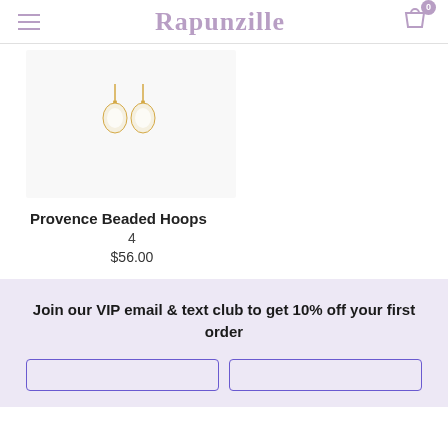Rapunzille
[Figure (photo): Product photo of Provence Beaded Hoops earrings on white/light gray background. Two small gold hoop earrings with pearl/crystal bead drops.]
Provence Beaded Hoops
4
$56.00
Join our VIP email & text club to get 10% off your first order